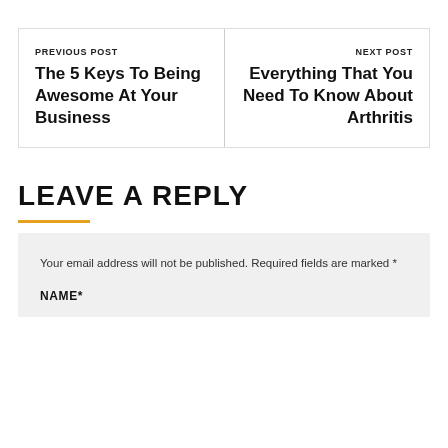PREVIOUS POST
The 5 Keys To Being Awesome At Your Business
NEXT POST
Everything That You Need To Know About Arthritis
LEAVE A REPLY
Your email address will not be published. Required fields are marked *
NAME*